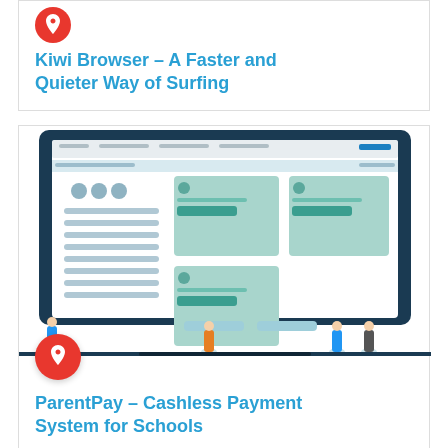[Figure (screenshot): Partial card for Kiwi Browser with a red pin icon and blue title text on white background with border]
Kiwi Browser – A Faster and Quieter Way of Surfing
[Figure (screenshot): Laptop illustration showing ParentPay dashboard UI with teal cards and small human figures around the laptop]
ParentPay – Cashless Payment System for Schools
Categories